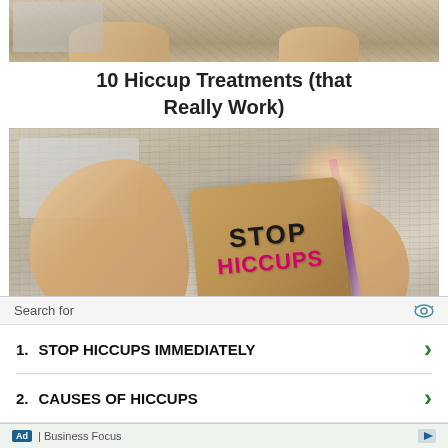[Figure (photo): Partial image of hands on a wooden surface with notes, cropped at top]
10 Hiccup Treatments (that Really Work)
[Figure (photo): Two hands on a rustic wooden surface pointing to a cardboard sign reading STOP HICCUPS, with a pencil, laptop, and warm glare lighting]
10 Hiccup Treatments (that Really Work)
[Figure (photo): Partial image of similar hands and notes layout, cropped at bottom]
| # | Search Term |  |
| --- | --- | --- |
| 1. | STOP HICCUPS IMMEDIATELY | › |
| 2. | CAUSES OF HICCUPS | › |
Search for
Ad | Business Focus